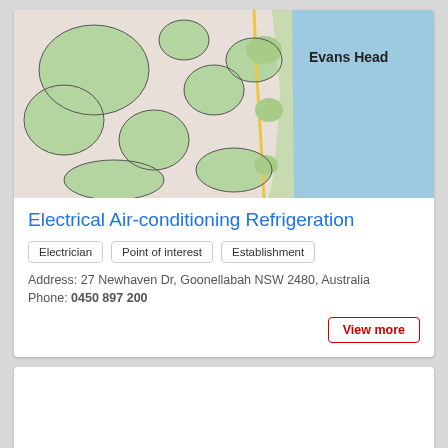[Figure (map): Google Maps view showing Evans Head area in NSW, Australia with green land areas and blue ocean/water to the right]
Electrical Air-conditioning Refrigeration
Electrician
Point of interest
Establishment
Address: 27 Newhaven Dr, Goonellabah NSW 2480, Australia
Phone: 0450 897 200
View more